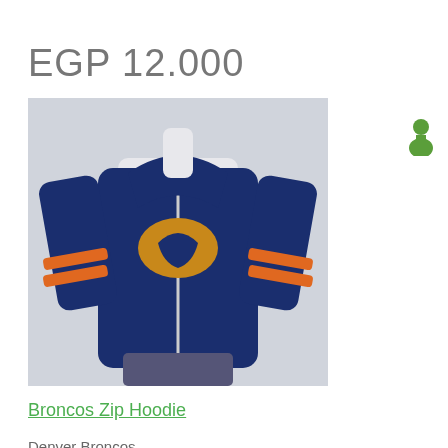EGP 12.000
[Figure (photo): Denver Broncos Zip Hoodie displayed on a mannequin — navy blue hoodie with orange stripe sleeves and Broncos logo on chest]
Broncos Zip Hoodie
Denver Broncos
EGP 12.000
[Figure (photo): Cleveland Browns hoodie/jacket displayed on a mannequin — dark brown with orange stripes, Browns helmet visible]